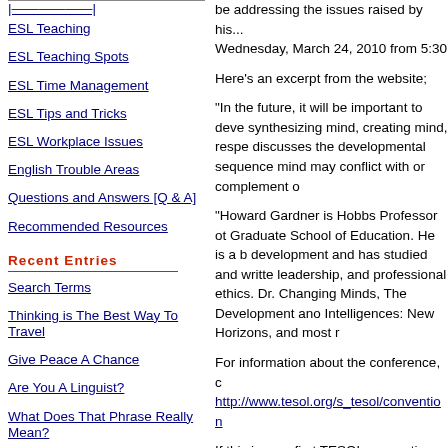ESL Teaching
ESL Teaching Spots
ESL Time Management
ESL Tips and Tricks
ESL Workplace Issues
English Trouble Areas
Questions and Answers [Q & A]
Recommended Resources
Recent Entries
Search Terms
Thinking is The Best Way To Travel
Give Peace A Chance
Are You A Linguist?
What Does That Phrase Really Mean?
Myths About Words
Got A Great Idea? Could You Use A Thousand Dollars?
be addressing the issues raised by his... Wednesday, March 24, 2010 from 5:30
Here's an excerpt from the website;
"In the future, it will be important to deve synthesizing mind, creating mind, respe discusses the developmental sequence mind may conflict with or complement o
"Howard Gardner is Hobbs Professor ot Graduate School of Education. He is a development and has studied and writte leadership, and professional ethics. Dr. Changing Minds, The Development ano Intelligences: New Horizons, and most r
For information about the conference, c
http://www.tesol.org/s_tesol/convention
If this is your first TESOL convention, ch timers
http://www.tesol.org/s_tesol/convention
I love gatherings like this. They energize times and remind me that many are also